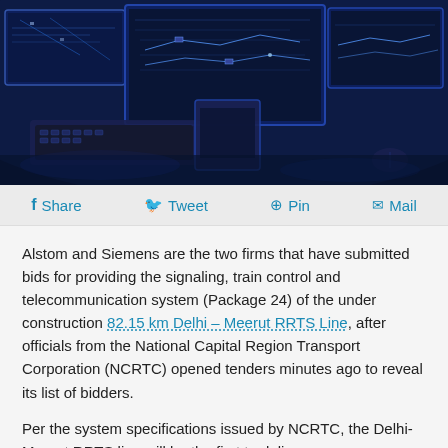[Figure (photo): Control room with multiple monitors displaying railway signaling/network diagrams, illuminated in blue light, with keyboards and equipment visible]
Share  Tweet  Pin  Mail
Alstom and Siemens are the two firms that have submitted bids for providing the signaling, train control and telecommunication system (Package 24) of the under construction 82.15 km Delhi – Meerut RRTS Line, after officials from the National Capital Region Transport Corporation (NCRTC) opened tenders minutes ago to reveal its list of bidders.
Per the system specifications issued by NCRTC, the Delhi-Meerut RRTS line will be the first to deliver...